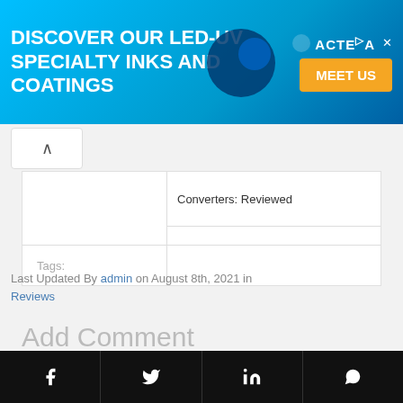[Figure (screenshot): Advertisement banner: 'DISCOVER OUR LED-UV SPECIALTY INKS AND COATINGS' with ACTEGA logo and MEET US button on cyan/blue background]
Converters: Reviewed
Tags:
Last Updated By admin on August 8th, 2021 in Reviews
Add Comment
Comment
[Figure (screenshot): Footer bar with social media icons: Facebook, Twitter, LinkedIn, WhatsApp on black background]